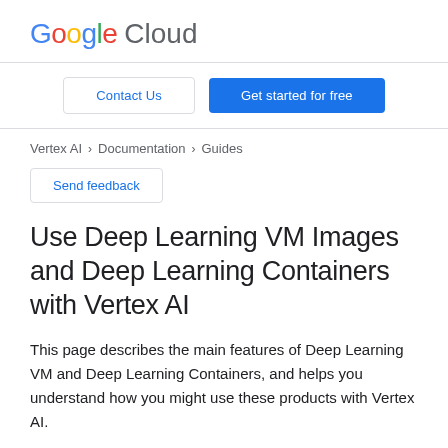[Figure (logo): Google Cloud logo with colorful Google lettering and grey Cloud text]
Contact Us
Get started for free
Vertex AI > Documentation > Guides
Send feedback
Use Deep Learning VM Images and Deep Learning Containers with Vertex AI
This page describes the main features of Deep Learning VM and Deep Learning Containers, and helps you understand how you might use these products with Vertex AI.